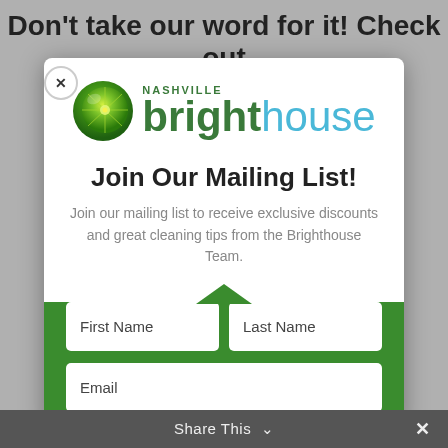Don't take our word for it! Check out
[Figure (logo): Nashville Brighthouse logo with lime/citrus icon on left, 'NASHVILLE' in small green caps above 'brighthouse' in large green and teal text]
Join Our Mailing List!
Join our mailing list to receive exclusive discounts and great cleaning tips from the Brighthouse Team.
First Name
Last Name
Email
Share This ∨